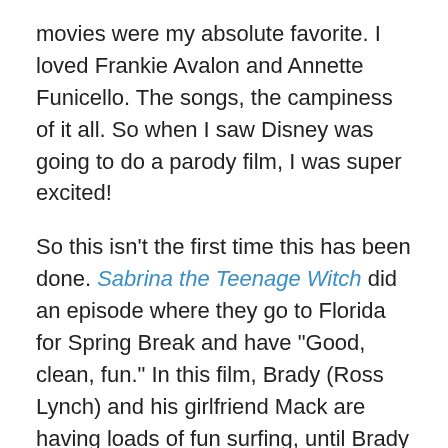movies were my absolute favorite. I loved Frankie Avalon and Annette Funicello. The songs, the campiness of it all. So when I saw Disney was going to do a parody film, I was super excited!
So this isn't the first time this has been done. Sabrina the Teenage Witch did an episode where they go to Florida for Spring Break and have "Good, clean, fun." In this film, Brady (Ross Lynch) and his girlfriend Mack are having loads of fun surfing, until Brady finds out that Mack is going away to finishing school. When the two ride a 40-foot wave, they find themselves in Brady's favorite film, the 1960s Wet Side Story. Hilarity ensues as the two find themselves in the middle of a biker and surfer fight, singing, surfing, and having some "good, clean, fun."
Cute guys, great music, and absolutely fabulous 1960s